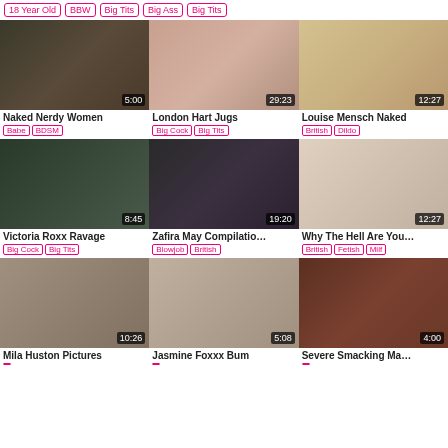18 Year Old | BBW | Big Tits | Big Ass | Big Tits
[Figure (photo): Naked Nerdy Women thumbnail 5:00]
Naked Nerdy Women
Babe | BDSM
[Figure (photo): London Hart Jugs thumbnail 29:23]
London Hart Jugs
Big Cock | Big Tits
[Figure (photo): Louise Mensch Naked thumbnail 12:27]
Louise Mensch Naked
British | Dildo
[Figure (photo): Victoria Roxx Ravage thumbnail 8:45]
Victoria Roxx Ravage
Big Cock | Big Tits
[Figure (photo): Zafira May Compilation thumbnail 19:20]
Zafira May Compilatio…
Blowjob | British
[Figure (photo): Why The Hell Are You thumbnail 12:27]
Why The Hell Are You…
British | Fetish | Milf
[Figure (photo): Mila Huston Pictures thumbnail 10:26]
Mila Huston Pictures
[Figure (photo): Jasmine Foxxx Bum thumbnail 5:08]
Jasmine Foxxx Bum
[Figure (photo): Severe Smacking Ma thumbnail 4:00]
Severe Smacking Ma…